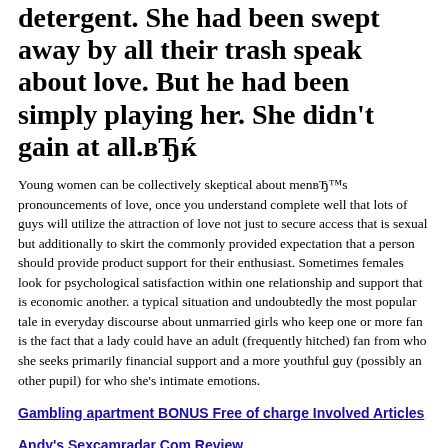detergent. She had been swept away by all their trash speak about love. But he had been simply playing her. She didn't gain at all.вЂќ
Young women can be collectively skeptical about menвЂ™s pronouncements of love, once you understand complete well that lots of guys will utilize the attraction of love not just to secure access that is sexual but additionally to skirt the commonly provided expectation that a person should provide product support for their enthusiast. Sometimes females look for psychological satisfaction within one relationship and support that is economic another. a typical situation and undoubtedly the most popular tale in everyday discourse about unmarried girls who keep one or more fan is the fact that a lady could have an adult (frequently hitched) fan from who she seeks primarily financial support and a more youthful guy (possibly an other pupil) for who she's intimate emotions.
Gambling apartment BONUS Free of charge Involved Articles
Andy's Sexcamradar Com Review